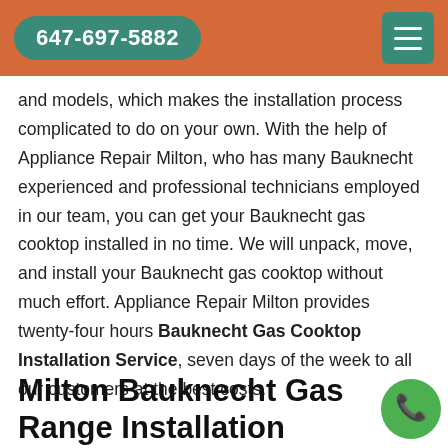647-697-5882
and models, which makes the installation process complicated to do on your own. With the help of Appliance Repair Milton, who has many Bauknecht experienced and professional technicians employed in our team, you can get your Bauknecht gas cooktop installed in no time. We will unpack, move, and install your Bauknecht gas cooktop without much effort. Appliance Repair Milton provides twenty-four hours Bauknecht Gas Cooktop Installation Service, seven days of the week to all our customers at the best costs.
Milton Bauknecht Gas Range Installation